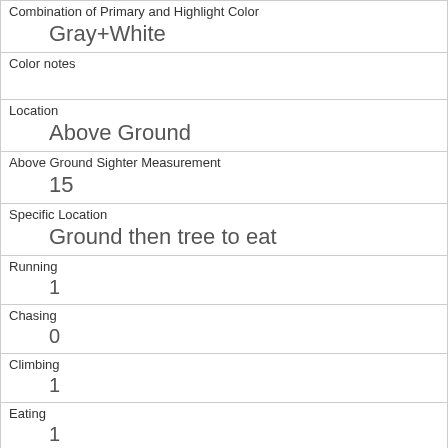| Combination of Primary and Highlight Color | Gray+White |
| Color notes |  |
| Location | Above Ground |
| Above Ground Sighter Measurement | 15 |
| Specific Location | Ground then tree to eat |
| Running | 1 |
| Chasing | 0 |
| Climbing | 1 |
| Eating | 1 |
| Foraging | 0 |
| Other Activities |  |